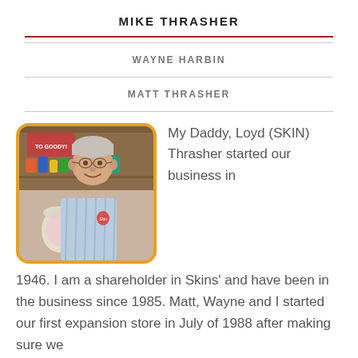MIKE THRASHER
WAYNE HARBIN
MATT THRASHER
[Figure (photo): Photo of Mike Thrasher, an older white man with gray hair and glasses, wearing a light blue button-down shirt with a logo, standing in front of a candy/snack store display. The photo has a rounded corner border with a golden/yellow frame.]
My Daddy, Loyd (SKIN) Thrasher started our business in 1946. I am a shareholder in Skins' and have been in the business since 1985. Matt, Wayne and I started our first expansion store in July of 1988 after making sure we